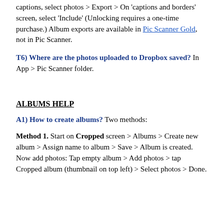captions, select photos > Export > On 'captions and borders' screen, select 'Include' (Unlocking requires a one-time purchase.) Album exports are available in Pic Scanner Gold, not in Pic Scanner.
T6) Where are the photos uploaded to Dropbox saved? In App > Pic Scanner folder.
ALBUMS HELP
A1) How to create albums? Two methods:
Method 1. Start on Cropped screen > Albums > Create new album > Assign name to album > Save > Album is created. Now add photos: Tap empty album > Add photos > tap Cropped album (thumbnail on top left) > Select photos > Done.